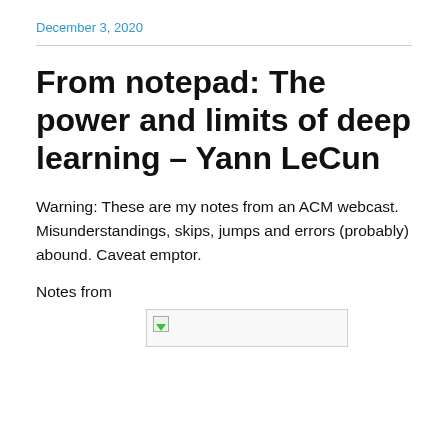December 3, 2020
From notepad: The power and limits of deep learning – Yann LeCun
Warning: These are my notes from an ACM webcast. Misunderstandings, skips, jumps and errors (probably) abound. Caveat emptor.
Notes from
[Figure (other): Placeholder image (broken/unloaded image box with small green arrow icon)]